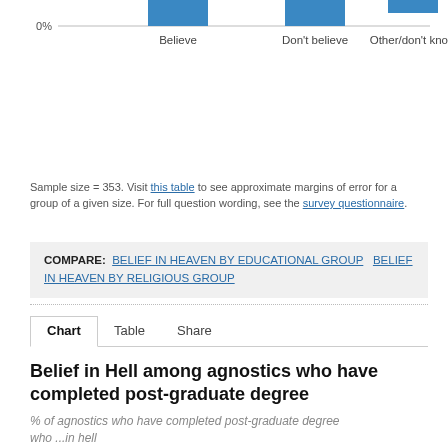[Figure (bar-chart): Partial view of a bar chart showing belief categories: Believe, Don't believe, Other/don't know. Only the top of the bars and 0% axis label are visible, with x-axis category labels.]
Sample size = 353. Visit this table to see approximate margins of error for a group of a given size. For full question wording, see the survey questionnaire.
COMPARE: BELIEF IN HEAVEN BY EDUCATIONAL GROUP  BELIEF IN HEAVEN BY RELIGIOUS GROUP
Belief in Hell among agnostics who have completed post-graduate degree
% of agnostics who have completed post-graduate degree who ...in hell